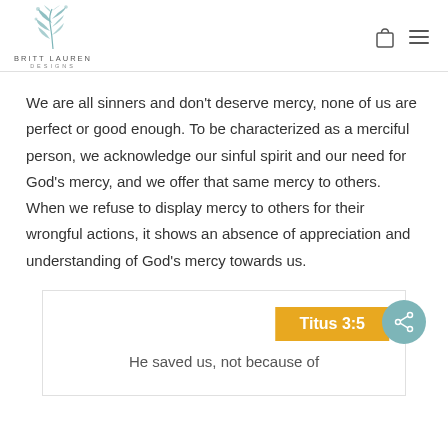BRITT LAUREN DESIGNS
We are all sinners and don’t deserve mercy, none of us are perfect or good enough. To be characterized as a merciful person, we acknowledge our sinful spirit and our need for God’s mercy, and we offer that same mercy to others. When we refuse to display mercy to others for their wrongful actions, it shows an absence of appreciation and understanding of God’s mercy towards us.
Titus 3:5
He saved us, not because of